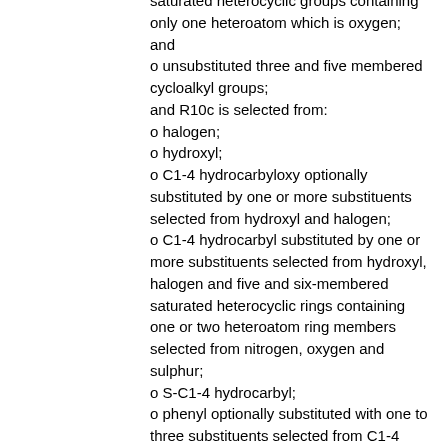saturated heterocyclic groups containing only one heteroatom which is oxygen; and
o unsubstituted three and five membered cycloalkyl groups;
and R10c is selected from:
o halogen;
o hydroxyl;
o C1-4 hydrocarbyloxy optionally substituted by one or more substituents selected from hydroxyl and halogen;
o C1-4 hydrocarbyl substituted by one or more substituents selected from hydroxyl, halogen and five and six-membered saturated heterocyclic rings containing one or two heteroatom ring members selected from nitrogen, oxygen and sulphur;
o S-C1-4 hydrocarbyl;
o phenyl optionally substituted with one to three substituents selected from C1-4 alkyl, trifluoromethyl, fluoro and chloro;
o heteroaryl groups having 5 or 6 ring members and containing up to 3 heteroatoms selected from N, O and S, the heteroaryl groups being optionally substituted with one to three substituents selected from C1-4 alkyl, trifluoromethyl, fluoro and chloro;